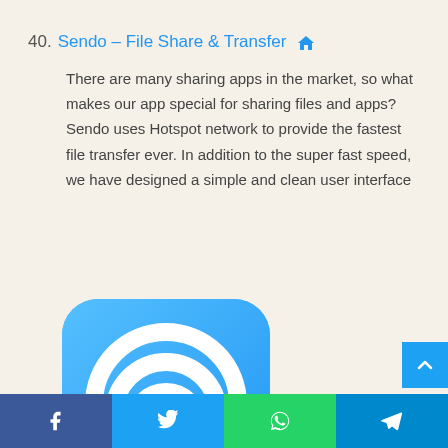40. Sendo – File Share & Transfer
There are many sharing apps in the market, so what makes our app special for sharing files and apps? Sendo uses Hotspot network to provide the fastest file transfer ever. In addition to the super fast speed, we have designed a simple and clean user interface
[Figure (logo): Sendo app icon: blue rounded square with white WiFi/hotspot signal icon and a person silhouette at the bottom]
Facebook | Twitter | WhatsApp | Telegram